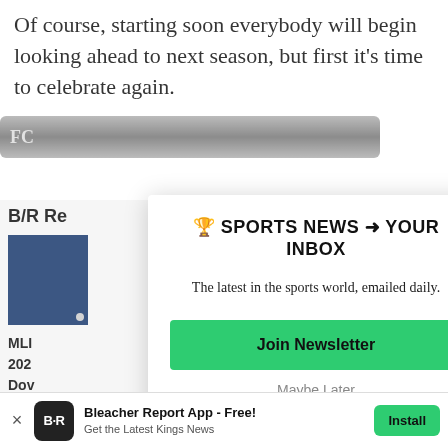Of course, starting soon everybody will begin looking ahead to next season, but first it's time to celebrate again.
[Figure (screenshot): Partially visible navigation bar with dark gray gradient background showing cut-off text starting with 'FC']
[Figure (screenshot): Partially visible sidebar with 'B/R Re' heading and a blue sports image, with text 'MLI', '202', 'Dov', 'and']
🏆 SPORTS NEWS ➜ YOUR INBOX
The latest in the sports world, emailed daily.
Join Newsletter
Maybe Later
Bleacher Report App - Free!
Get the Latest Kings News
Install